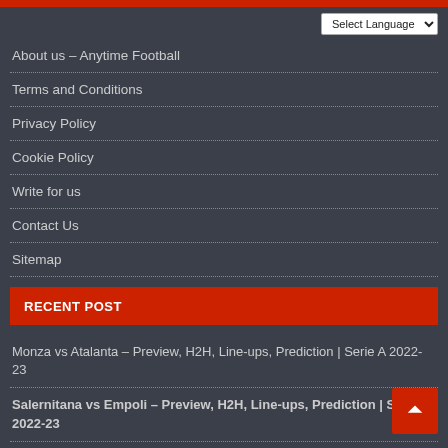About us – Anytime Football
Terms and Conditions
Privacy Policy
Cookie Policy
Write for us
Contact Us
Sitemap
RECENT POST
Monza vs Atalanta – Preview, H2H, Line-ups, Prediction | Serie A 2022-23
Salernitana vs Empoli – Preview, H2H, Line-ups, Prediction | Serie A 2022-23
Torino vs Lecce – Preview, H2H, Line-ups, Prediction | Serie A